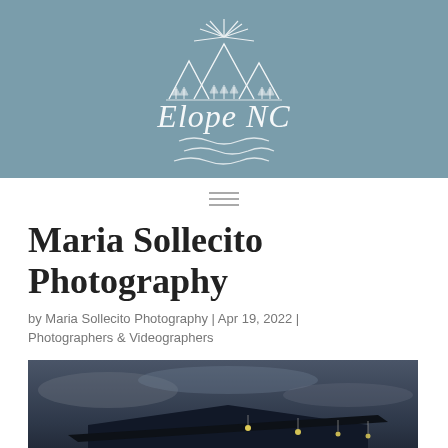[Figure (logo): ElopeNC logo on steel blue background: mountain peaks with trees, sun rays above, water waves below, and italic script text 'Elope NC']
[Figure (other): Hamburger menu icon — three horizontal lines]
Maria Sollecito Photography
by Maria Sollecito Photography | Apr 19, 2022 | Photographers & Videographers
[Figure (photo): Dark photo of a building roofline with pendant lights against a cloudy dusk sky]